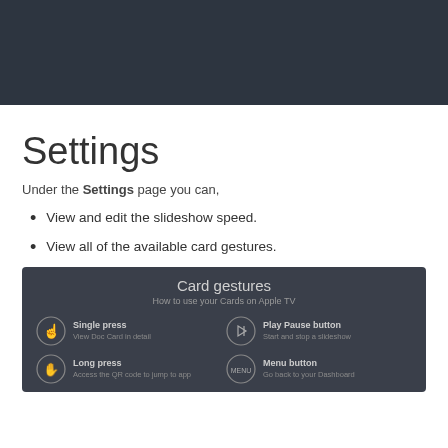[Figure (screenshot): Dark header image area, dark navy/slate background, no visible content]
Settings
Under the Settings page you can,
View and edit the slideshow speed.
View all of the available card gestures.
[Figure (screenshot): Card gestures panel on dark background showing: 'Card gestures - How to use your Cards on Apple TV'. Four gesture items: Single press (View Doc Card in detail), Long press (Access the QR code to jump to app), Play Pause button (Start and stop a slideshow), Menu button (Go back to your Dashboard)]